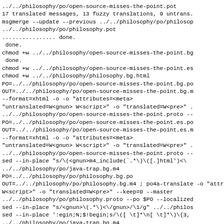../../philosophy/po/open-source-misses-the-point.pot
17 translated messages, 13 fuzzy translations, 9 untrans.
msgmerge --update --previous ../../philosophy/po/philosop
../../philosophy/po/philosophy.pot
................ done.
 done.
chmod +w ../../philosophy/open-source-misses-the-point.bg
 done.
chmod +w ../../philosophy/open-source-misses-the-point.es
chmod +w ../../philosophy/philosophy.bg.html
PO=../../philosophy/po/open-source-misses-the-point.bg.po
OUT=../../philosophy/po/open-source-misses-the-point.bg.m
--format=xhtml -o ontagerror=silent -o "attributes=<meta>
"untranslated=W<gnun> W<script>" -o "translated=W<pre>" .
../../philosophy/po/open-source-misses-the-point.proto --
PO=../../philosophy/po/open-source-misses-the-point.es.po
OUT=../../philosophy/po/open-source-misses-the-point.es.m
--format=xhtml -o ontagerror=silent -o "attributes=<meta>
"untranslated=W<gnun> W<script>" -o "translated=W<pre>" .
../../philosophy/po/open-source-misses-the-point.proto --
sed --in-place "s/\(<gnun>m4_include(`.*\)\([.]html')=\
../../philosophy/po/java-trap.bg.m4
PO=../../philosophy/po/philosophy.bg.po
OUT=../../philosophy/po/philosophy.bg.m4 ; po4a-translate
ontagerror=silent -o "attributes=<meta>content" -o "untra
W<script>" -o "translated=W<pre>" --keep=0 --master
../../philosophy/po/philosophy.proto --po $PO --localized
sed --in-place "s/<gnun>\(.*\)<\/gnun>/\1/g" ../../philos
sed --in-place ':egin;N;$!begin;s/\([ \t]*\n[ \t]*\)\{3,
../../philosophy/po/java-trap.bg.m4